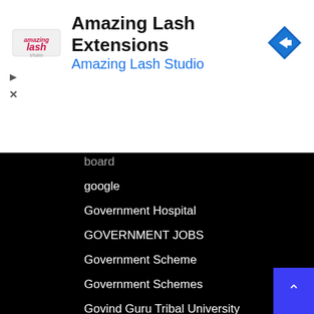[Figure (screenshot): Advertisement banner for Amazing Lash Extensions / Amazing Lash Studio with logo, navigation icon, and ad controls]
board
google
Government Hospital
GOVERNMENT JOBS
Government Scheme
Government Schemes
Govind Guru Tribal University
Govt. Nursing College
Govt. Printing Press
GPCB
GPHC
GPSC
GPSC Proceedings